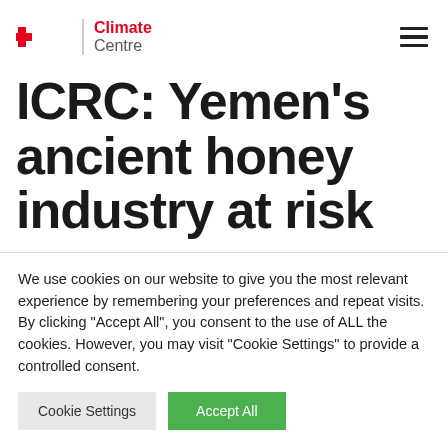Climate Centre
ICRC: Yemen’s ancient honey industry at risk
We use cookies on our website to give you the most relevant experience by remembering your preferences and repeat visits. By clicking “Accept All”, you consent to the use of ALL the cookies. However, you may visit “Cookie Settings” to provide a controlled consent.
Cookie Settings | Accept All